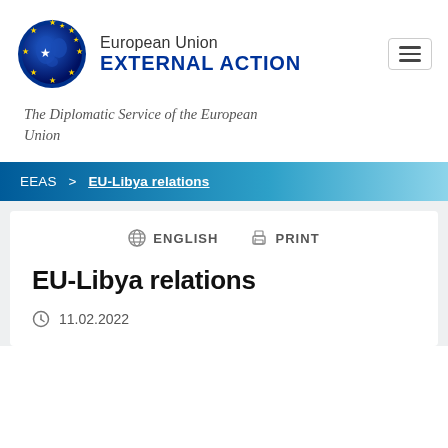[Figure (logo): European Union External Action logo — globe with EU stars and 'European Union EXTERNAL ACTION' text]
The Diplomatic Service of the European Union
EEAS > EU-Libya relations
ENGLISH   PRINT
EU-Libya relations
11.02.2022